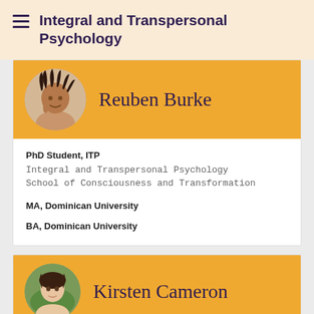Integral and Transpersonal Psychology
Reuben Burke
PhD Student, ITP
Integral and Transpersonal Psychology
School of Consciousness and Transformation

MA, Dominican University

BA, Dominican University
Kirsten Cameron